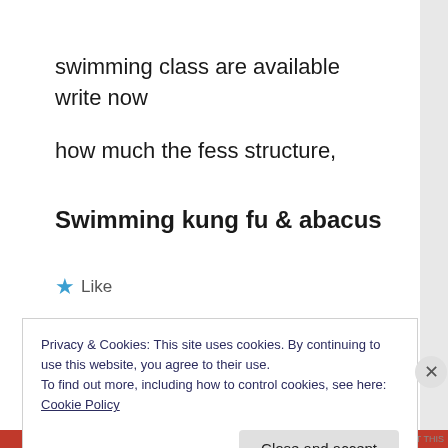swimming class are available write now
how much the fess structure,
Swimming kung fu & abacus
★ Like
REPLY
Privacy & Cookies: This site uses cookies. By continuing to use this website, you agree to their use.
To find out more, including how to control cookies, see here: Cookie Policy
Close and accept